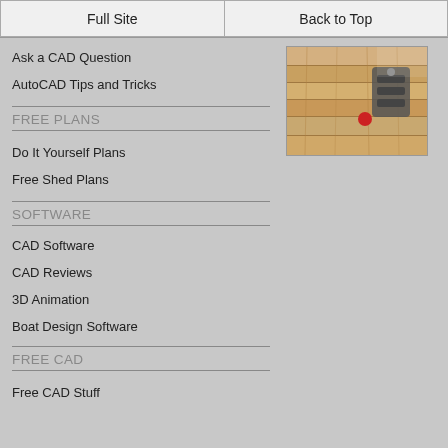Full Site | Back to Top
Ask a CAD Question
AutoCAD Tips and Tricks
FREE PLANS
Do It Yourself Plans
Free Shed Plans
SOFTWARE
CAD Software
CAD Reviews
3D Animation
Boat Design Software
FREE CAD
Free CAD Stuff
[Figure (photo): Woodworking tools and materials photo in top right corner]